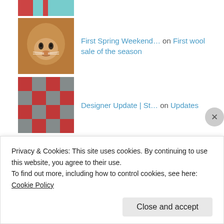[Figure (photo): Partial thumbnail of fabric/textile, red and teal colors, top item]
First Spring Weekend… on First wool sale of the season
[Figure (photo): Thumbnail of a cougar/mountain lion face]
Designer Update | St… on Updates
[Figure (photo): Thumbnail of fabric/textile with red pattern]
rebecca on Craft Faire in Roseburg
[Figure (illustration): Thumbnail of blue and white geometric snowflake/native pattern]
Divisions
Use it Up (dropdown)
Privacy & Cookies: This site uses cookies. By continuing to use this website, you agree to their use.
To find out more, including how to control cookies, see here: Cookie Policy
Close and accept